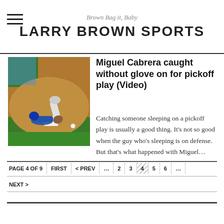Brown Bag it, Baby — LARRY BROWN SPORTS
[Figure (photo): Baseball pickoff play photo showing a first baseman reaching for the ball as a runner slides back to base on a dirt infield]
Miguel Cabrera caught without glove on for pickoff play (Video)
Catching someone sleeping on a pickoff play is usually a good thing. It's not so good when the guy who's sleeping is on defense. But that's what happened with Miguel…
PAGE 4 OF 9 | FIRST | < PREV | … | 2 | 3 | 4 | 5 | 6 | … | NEXT >